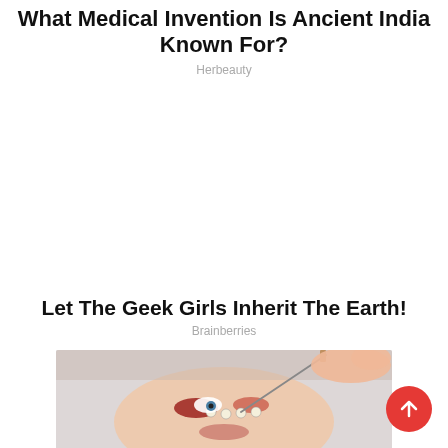What Medical Invention Is Ancient India Known For?
Herbeauty
Let The Geek Girls Inherit The Earth!
Brainberries
[Figure (photo): Close-up photo of a person's face being painted or decorated with a fine brush, appearing to show artistic face painting or makeup application. The subject has colorful decorations around the eye area.]